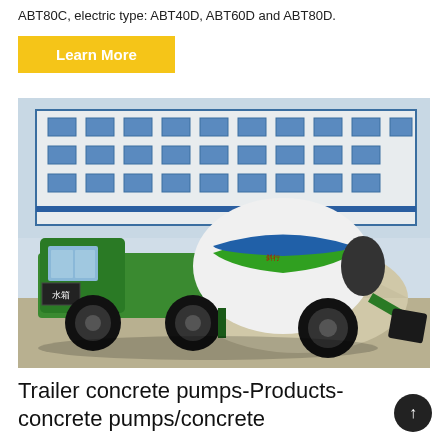ABT80C, electric type: ABT40D, ABT60D and ABT80D.
Learn More
[Figure (photo): Green self-loading concrete mixer truck parked in front of an industrial building with a large aggregate pile behind it. The truck has a white rotating drum with green stripes and Chinese characters, and a water tank labeled 水箱 on the front.]
Trailer concrete pumps-Products-concrete pumps/concrete